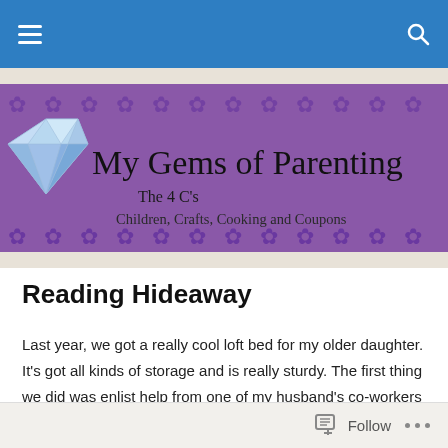Navigation bar with hamburger menu and search icon
[Figure (logo): My Gems of Parenting blog banner with purple floral background, diamond gem icon, blog title 'My Gems of Parenting', subtitle 'The 4 C's', and tagline 'Children, Crafts, Cooking and Coupons']
Reading Hideaway
Last year, we got a really cool loft bed for my older daughter.  It's got all kinds of storage and is really sturdy.  The first thing we did was enlist help from one of my husband's co-workers to update the ladder and add extra rails on top.  He did a fantastic job!  We also put my
Follow ...